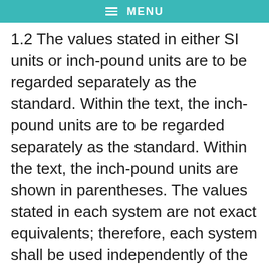MENU
1.2 The values stated in either SI units or inch-pound units are to be regarded separately as the standard. Within the text, the inch-pound units are to be regarded separately as the standard. Within the text, the inch-pound units are shown in parentheses. The values stated in each system are not exact equivalents; therefore, each system shall be used independently of the other. Combining values from the two systems may result in non-conformance with the